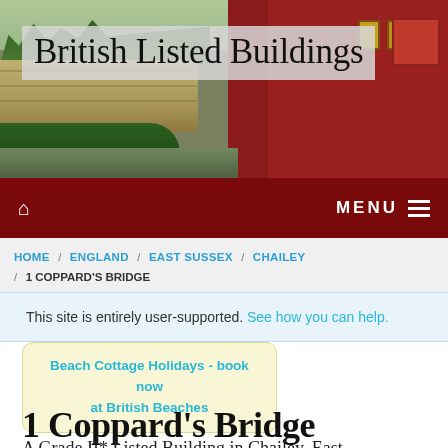[Figure (photo): Header photo of British Listed Buildings website showing a historic bridge and red brick building scene]
British Listed Buildings
MENU
HOME / ENGLAND / EAST SUSSEX / CHAILEY / 1 COPPARD'S BRIDGE
This site is entirely user-supported. See how you can help.
Beach Cottage Holidays - book now at British Beaches
1 Coppard's Bridge
A Grade II* Listed Building in Chailey, East